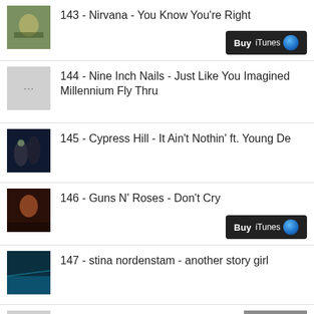143 - Nirvana - You Know You're Right
144 - Nine Inch Nails - Just Like You Imagined Millennium Fly Thru
145 - Cypress Hill - It Ain't Nothin' ft. Young De
146 - Guns N' Roses - Don't Cry
147 - stina nordenstam - another story girl
148 - ​​​​​​​ ​​​​